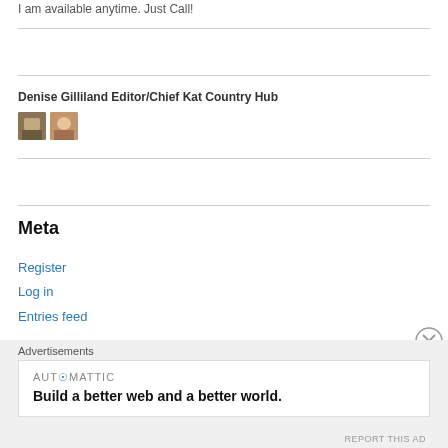I am available anytime. Just Call!
Denise Gilliland Editor/Chief Kat Country Hub
[Figure (photo): Two small avatar/profile images side by side]
Meta
Register
Log in
Entries feed
Advertisements
AUTOMATTIC
Build a better web and a better world.